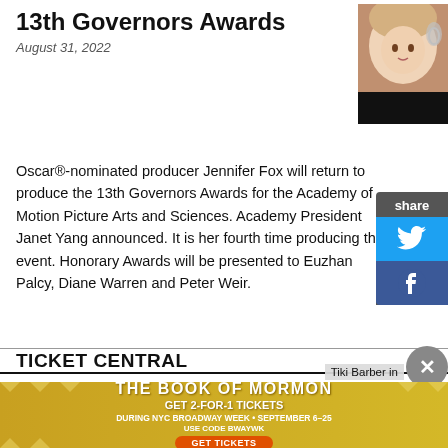13th Governors Awards
August 31, 2022
[Figure (photo): Headshot of a blonde woman at a red carpet event]
Oscar®-nominated producer Jennifer Fox will return to produce the 13th Governors Awards for the Academy of Motion Picture Arts and Sciences. Academy President Janet Yang announced. It is her fourth time producing the event. Honorary Awards will be presented to Euzhan Palcy, Diane Warren and Peter Weir.
TICKET CENTRAL
[Figure (photo): Official Broadway Merch - two black mugs with red accents showing Joy Cometh and To Kill a Mockingbird]
[Figure (photo): Official Broadway Merch - Anastasia musical promotional image with golden dancer against purple/orange background]
[Figure (infographic): The Book of Mormon advertisement - GET 2-FOR-1 TICKETS DURING NYC BROADWAY WEEK SEPTEMBER 6-25 USE CODE BWAYWK GET TICKETS]